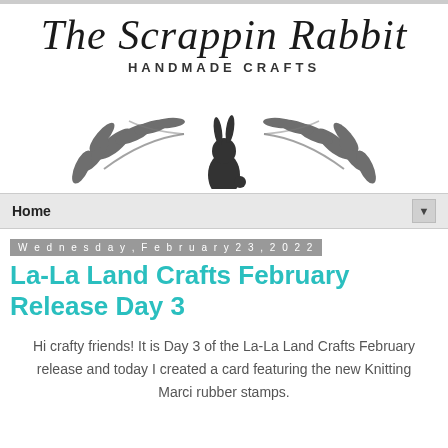[Figure (logo): The Scrappin Rabbit Handmade Crafts logo with script text, laurel branches, and a sitting rabbit illustration]
Home
Wednesday, February 23, 2022
La-La Land Crafts February Release Day 3
Hi crafty friends! It is Day 3 of the La-La Land Crafts February release and today I created a card featuring the new Knitting Marci rubber stamps.